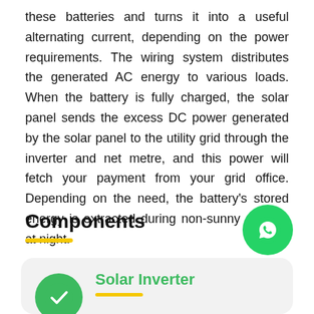these batteries and turns it into a useful alternating current, depending on the power requirements. The wiring system distributes the generated AC energy to various loads. When the battery is fully charged, the solar panel sends the excess DC power generated by the solar panel to the utility grid through the inverter and net metre, and this power will fetch your payment from your grid office. Depending on the need, the battery's stored energy is extracted during non-sunny days or at night.
Components
[Figure (other): Green circular WhatsApp chat button icon]
[Figure (other): Green circular checkmark icon for Solar Inverter component card]
Solar Inverter
Without a solar panel, the forceful solar